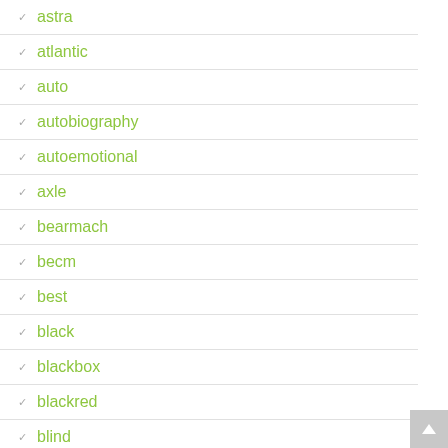astra
atlantic
auto
autobiography
autoemotional
axle
bearmach
becm
best
black
blackbox
blackred
blind
blue